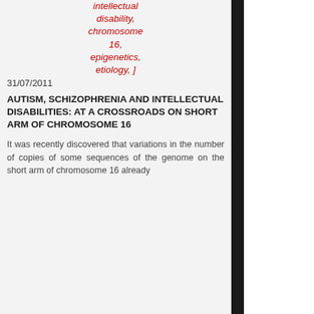intellectual disability, chromosome 16, epigenetics, etiology, ] 31/07/2011
AUTISM, SCHIZOPHRENIA AND INTELLECTUAL DISABILITIES: AT A CROSSROADS ON SHORT ARM OF CHROMOSOME 16
It was recently discovered that variations in the number of copies of some sequences of the genome on the short arm of chromosome 16 already